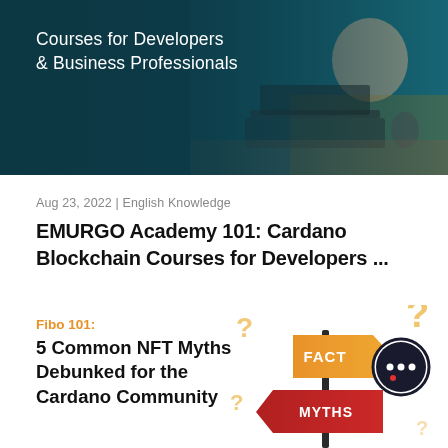[Figure (photo): Banner image showing a person using a laptop at a desk, overlaid on dark teal background with text 'Courses for Developers & Business Professionals']
Aug 23, 2022 | English Knowledge
EMURGO Academy 101: Cardano Blockchain Courses for Developers ...
Fibo 101:
5 Common NFT Myths Debunked for the Cardano Community
[Figure (illustration): Illustration showing road signs with MYTHS (red arrow) and FACT (orange arrow) pointing in different directions, question marks around, and a chat bubble icon]